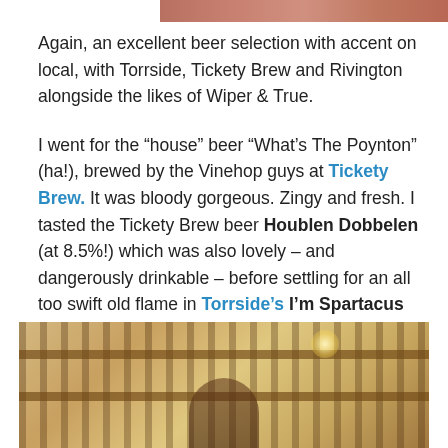[Figure (photo): Top portion of a photo cut off at top edge, showing what appears to be people]
Again, an excellent beer selection with accent on local, with Torrside, Tickety Brew and Rivington alongside the likes of Wiper & True.
I went for the “house” beer “What’s The Poynton” (ha!), brewed by the Vinehop guys at Tickety Brew. It was bloody gorgeous. Zingy and fresh. I tasted the Tickety Brew beer Houblen Dobbelen (at 8.5%!) which was also lovely – and dangerously drinkable – before settling for an all too swift old flame in Torrside’s I’m Spartacus (predictive text works again!). Which was predictably excellent. And again witnessed “cat herding” in full effect…
[Figure (photo): Interior photo of a bar or bottle shop showing shelves with bottles of wine/beer and pendant lights, with a person partially visible at bottom]